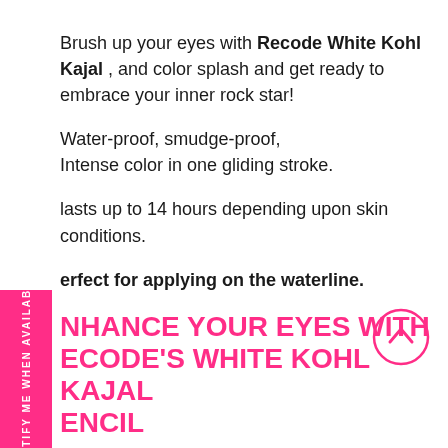Brush up your eyes with Recode White Kohl Kajal , and color splash and get ready to embrace your inner rock star!
Water-proof, smudge-proof,
Intense color in one gliding stroke.
lasts up to 14 hours depending upon skin conditions.
erfect for applying on the waterline.
NHANCE YOUR EYES WITH ECODE'S WHITE KOHL KAJAL ENCIL
ecode Studio's white eye pencils are extra gmented makeup items that provide a dark nish in only one stroke. The kajal is safe to be utilized on your water lines. Many stylish eye looks
[Figure (other): Pink circular scroll-up button with chevron icon]